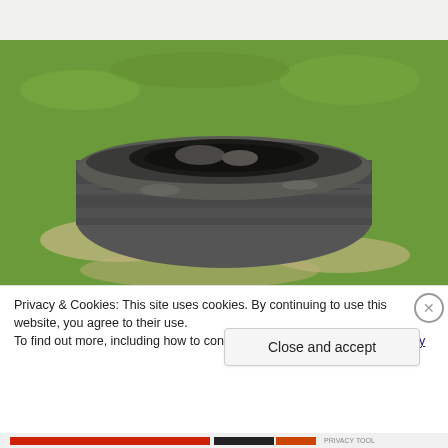[Figure (photo): A circular stone well made of stacked flat stones, set on a grassy field with patches of bare earth. The well is viewed slightly from above, showing its hollow interior. The surrounding area is green grass with some sandy/muddy patches.]
Privacy & Cookies: This site uses cookies. By continuing to use this website, you agree to their use.
To find out more, including how to control cookies, see here: Cookie Policy
Close and accept